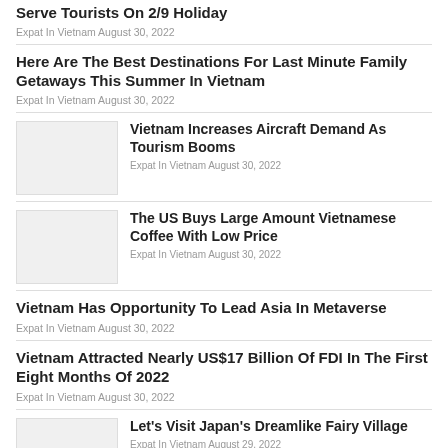Serve Tourists On 2/9 Holiday
Expat In Vietnam  August 30, 2022
Here Are The Best Destinations For Last Minute Family Getaways This Summer In Vietnam
Expat In Vietnam  August 30, 2022
[Figure (photo): Thumbnail image placeholder]
Vietnam Increases Aircraft Demand As Tourism Booms
Expat In Vietnam  August 30, 2022
[Figure (photo): Thumbnail image placeholder]
The US Buys Large Amount Vietnamese Coffee With Low Price
Expat In Vietnam  August 30, 2022
Vietnam Has Opportunity To Lead Asia In Metaverse
Expat In Vietnam  August 30, 2022
Vietnam Attracted Nearly US$17 Billion Of FDI In The First Eight Months Of 2022
Expat In Vietnam  August 30, 2022
[Figure (photo): Thumbnail image placeholder]
Let's Visit Japan's Dreamlike Fairy Village
Expat In Vietnam  August 29, 2022